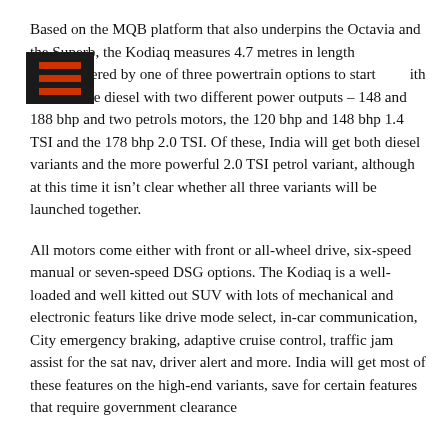Based on the MQB platform that also underpins the Octavia and the Superb, the Kodiaq measures 4.7 metres in length and will be powered by one of three powertrain options to start with – a 2.0-litre diesel with two different power outputs – 148 and 188 bhp and two petrols motors, the 120 bhp and 148 bhp 1.4 TSI and the 178 bhp 2.0 TSI. Of these, India will get both diesel variants and the more powerful 2.0 TSI petrol variant, although at this time it isn't clear whether all three variants will be launched together.
All motors come either with front or all-wheel drive, six-speed manual or seven-speed DSG options. The Kodiaq is a well-loaded and well kitted out SUV with lots of mechanical and electronic featurs like drive mode select, in-car communication, City emergency braking, adaptive cruise control, traffic jam assist for the sat nav, driver alert and more. India will get most of these features on the high-end variants, save for certain features that require government clearance